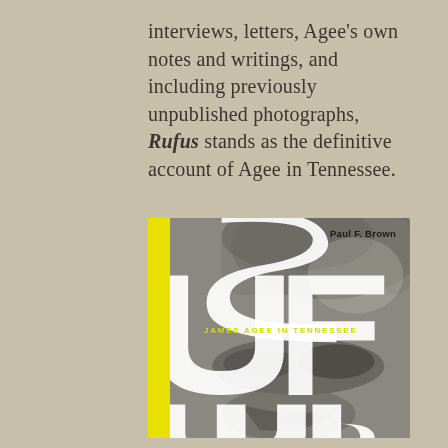interviews, letters, Agee's own notes and writings, and including previously unpublished photographs, Rufus stands as the definitive account of Agee in Tennessee.
[Figure (illustration): Book cover for 'Rufus: James Agee in Tennessee' by Paul F. Brown. Cover features a yellow vertical spine on the left, large white typographic letters spelling 'RUFUS' overlaid on a black-and-white photograph of a face (close-up showing hair, eyes, nose, and mouth at different crop levels through the letter cutouts). The subtitle 'JAMES AGEE IN TENNESSEE' appears in yellow sans-serif all-caps lettering across the middle of the cover.]